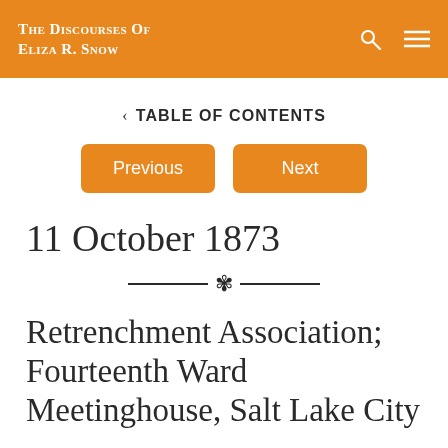The Discourses of Eliza R. Snow
< TABLE OF CONTENTS
Previous   Next
11 October 1873
Retrenchment Association; Fourteenth Ward Meetinghouse, Salt Lake City